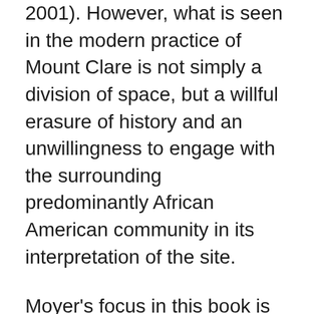2001). However, what is seen in the modern practice of Mount Clare is not simply a division of space, but a willful erasure of history and an unwillingness to engage with the surrounding predominantly African American community in its interpretation of the site.
Moyer's focus in this book is to create a counter-narrative, to prove, despite the previous research that has been done on the site and its white elite owners, there